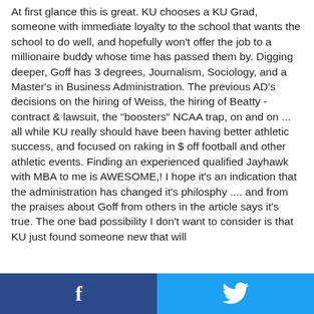At first glance this is great. KU chooses a KU Grad, someone with immediate loyalty to the school that wants the school to do well, and hopefully won't offer the job to a millionaire buddy whose time has passed them by. Digging deeper, Goff has 3 degrees, Journalism, Sociology, and a Master's in Business Administration. The previous AD's decisions on the hiring of Weiss, the hiring of Beatty - contract & lawsuit, the "boosters" NCAA trap, on and on ... all while KU really should have been having better athletic success, and focused on raking in $ off football and other athletic events. Finding an experienced qualified Jayhawk with MBA to me is AWESOME,! I hope it's an indication that the administration has changed it's philosphy .... and from the praises about Goff from others in the article says it's true. The one bad possibility I don't want to consider is that KU just found someone new that will
[Figure (other): Social share bar with Facebook (dark blue) and Twitter (light blue) icons]